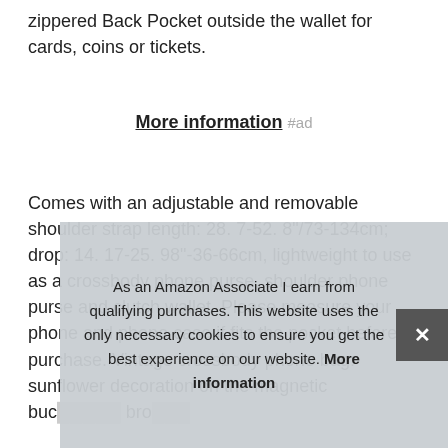zippered Back Pocket outside the wallet for cards, coins or tickets.
More information #ad
Comes with an adjustable and removable shoulder strap length: 28. 7-52. 8"/73-134cm; drop: 14. 17-25. 98"-36-66cm, lightweight to use as a crossbody phone purse, shoulder phone purse and clutch wallet. Please measure your phone and phone case if fits the pocket before purchase. Vintage crossbody phone bag: sunflower decoration on the magnetic buc… bro…
As an Amazon Associate I earn from qualifying purchases. This website uses the only necessary cookies to ensure you get the best experience on our website. More information